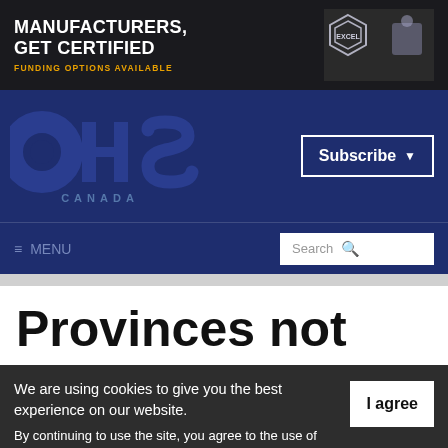[Figure (illustration): Advertisement banner: dark background with text 'MANUFACTURERS, GET CERTIFIED' in white bold uppercase, 'FUNDING OPTIONS AVAILABLE' in orange, and a logo/badge on the right with workers in background.]
[Figure (logo): OHS Canada logo in large dark blue bold letters with 'CANADA' subtitle, on dark blue background with 'Subscribe' button on right.]
≡ MENU  Search
Provinces not
We are using cookies to give you the best experience on our website. By continuing to use the site, you agree to the use of cookies. To find out more, read our privacy policy.